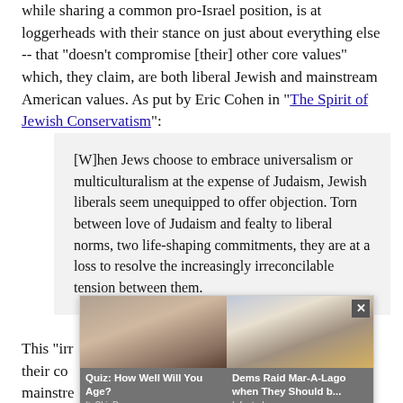while sharing a common pro-Israel position, is at loggerheads with their stance on just about everything else -- that "doesn't compromise [their] other core values" which, they claim, are both liberal Jewish and mainstream American values. As put by Eric Cohen in "The Spirit of Jewish Conservatism":
[W]hen Jews choose to embrace universalism or multiculturalism at the expense of Judaism, Jewish liberals seem unequipped to offer objection. Torn between love of Judaism and fealty to liberal norms, two life-shaping commitments, they are at a loss to resolve the increasingly irreconcilable tension between them.
This "irr... nera that their co... mainstre... ne that that th...
[Figure (screenshot): Advertisement overlay with two ad items: 'Quiz: How Well Will You Age?' from ItsSkinDeep.com (left, with photo of person) and 'Dems Raid Mar-A-Lago when They Should b...' from Infected (right, with photo of person at desk). A close button (×) is in the top right.]